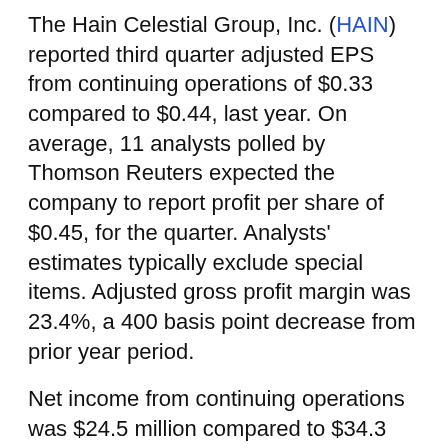The Hain Celestial Group, Inc. (HAIN) reported third quarter adjusted EPS from continuing operations of $0.33 compared to $0.44, last year. On average, 11 analysts polled by Thomson Reuters expected the company to report profit per share of $0.45, for the quarter. Analysts' estimates typically exclude special items. Adjusted gross profit margin was 23.4%, a 400 basis point decrease from prior year period.
Net income from continuing operations was $24.5 million compared to $34.3 million in the prior year period. Earnings per share was $0.27 compared to $0.34.
Third quarter net sales increased 2.1% to $502.9...